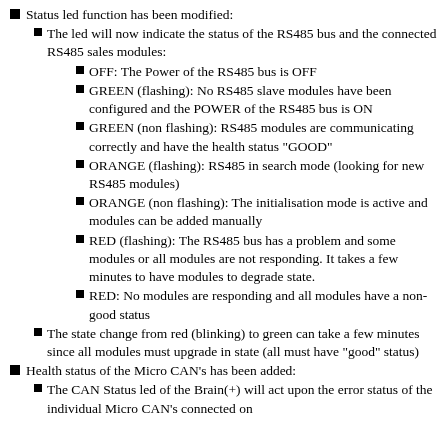Status led function has been modified:
The led will now indicate the status of the RS485 bus and the connected RS485 sales modules:
OFF: The Power of the RS485 bus is OFF
GREEN (flashing): No RS485 slave modules have been configured and the POWER of the RS485 bus is ON
GREEN (non flashing): RS485 modules are communicating correctly and have the health status "GOOD"
ORANGE (flashing): RS485 in search mode (looking for new RS485 modules)
ORANGE (non flashing): The initialisation mode is active and modules can be added manually
RED (flashing): The RS485 bus has a problem and some modules or all modules are not responding. It takes a few minutes to have modules to degrade state.
RED: No modules are responding and all modules have a non-good status
The state change from red (blinking) to green can take a few minutes since all modules must upgrade in state (all must have "good" status)
Health status of the Micro CAN's has been added:
The CAN Status led of the Brain(+) will act upon the error status of the individual Micro CAN's connected on